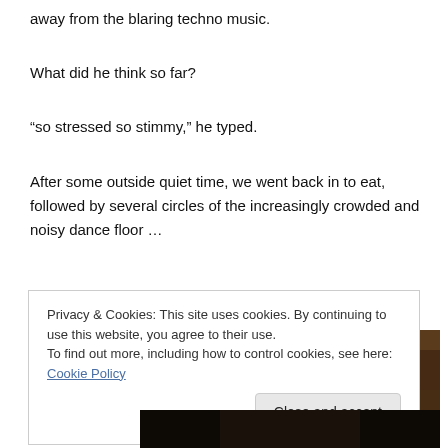away from the blaring techno music.
What did he think so far?
“so stressed so stimmy,” he typed.
After some outside quiet time, we went back in to eat, followed by several circles of the increasingly crowded and noisy dance floor …
[Figure (photo): A blurry low-light photo of a crowded indoor venue with reddish lights on the ceiling, dark ambiance suggesting a dance floor or event space.]
Privacy & Cookies: This site uses cookies. By continuing to use this website, you agree to their use.
To find out more, including how to control cookies, see here: Cookie Policy
[Figure (photo): Bottom portion of a dark indoor photo, partially visible.]